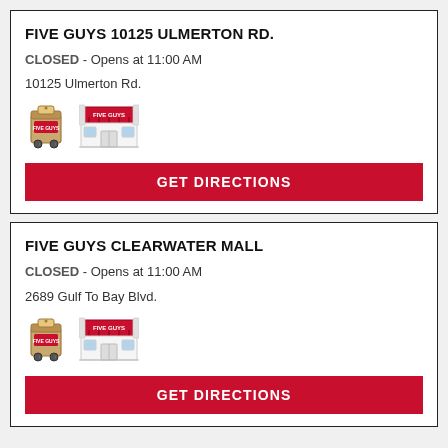FIVE GUYS 10125 ULMERTON RD.
CLOSED - Opens at 11:00 AM
10125 Ulmerton Rd.
[Figure (illustration): Delivery bag icon and Five Guys store front icon]
GET DIRECTIONS
FIVE GUYS CLEARWATER MALL
CLOSED - Opens at 11:00 AM
2689 Gulf To Bay Blvd.
[Figure (illustration): Delivery bag icon and Five Guys store front icon]
GET DIRECTIONS